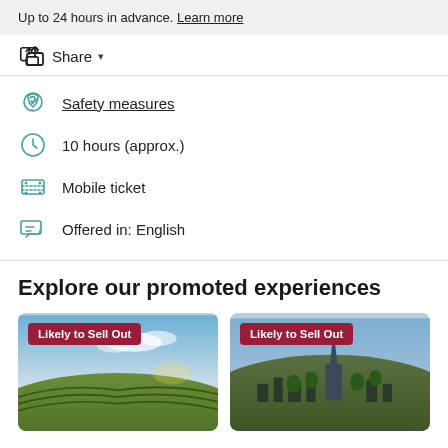Up to 24 hours in advance. Learn more
Share
Safety measures
10 hours (approx.)
Mobile ticket
Offered in: English
Explore our promoted experiences
[Figure (photo): Vineyard landscape at sunset with 'Likely to Sell Out' badge]
[Figure (photo): City skyline with tower on hill and 'Likely to Sell Out' badge]